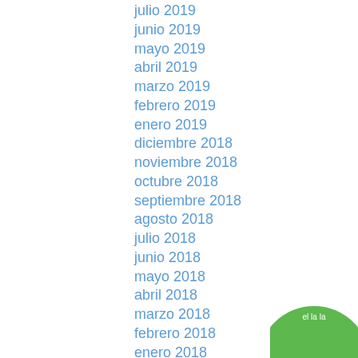julio 2019
junio 2019
mayo 2019
abril 2019
marzo 2019
febrero 2019
enero 2019
diciembre 2018
noviembre 2018
octubre 2018
septiembre 2018
agosto 2018
julio 2018
junio 2018
mayo 2018
abril 2018
marzo 2018
febrero 2018
enero 2018
diciembre 2017
noviembre 2017
octubre 2017
septiembre 2017
[Figure (logo): Green circular badge/button partially visible in bottom right corner]